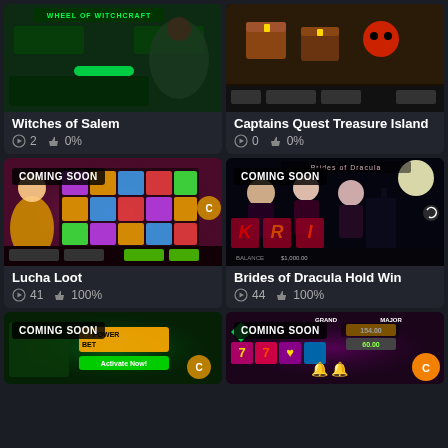[Figure (screenshot): Slot game screenshot: Witches of Salem with Wheel of Witchcraft title, dark green theme with witch character]
Witches of Salem
2  0%
[Figure (screenshot): Slot game screenshot: Captains Quest Treasure Island with treasure chests and pirate theme]
Captains Quest Treasure Island
0  0%
[Figure (screenshot): Slot game screenshot: Lucha Loot with COMING SOON badge, wrestler and colorful slot reels]
Lucha Loot
41  100%
[Figure (screenshot): Slot game screenshot: Brides of Dracula Hold Win with COMING SOON badge, vampire characters on dark blue background]
Brides of Dracula Hold Win
44  100%
[Figure (screenshot): Slot game screenshot: Power Bet with COMING SOON badge, green theme with lightning bolt logo]
[Figure (screenshot): Slot game screenshot: Ultra Fortunator with COMING SOON badge, purple theme with 7 symbols and GRAND/MAJOR jackpots]